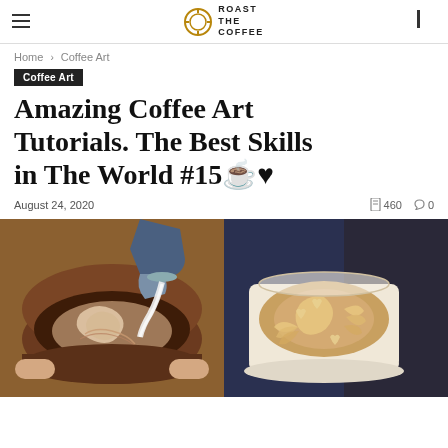ROAST THE COFFEE
Home > Coffee Art
Coffee Art
Amazing Coffee Art Tutorials. The Best Skills in The World #15☕♥
August 24, 2020  460  0
[Figure (photo): Two coffee latte art photos side by side: left shows a barista pouring milk creating a swirling rosette pattern in a dark espresso cup; right shows a finished latte art with a detailed floral/leaf rosette pattern in a white cup.]